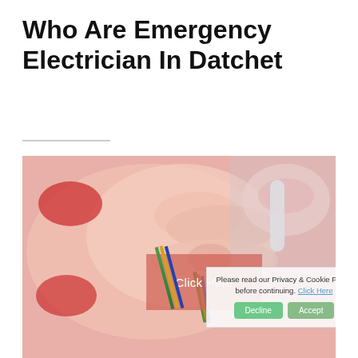Who Are Emergency Electrician In Datchet
[Figure (photo): Close-up photo of hands working with electrical wires, showing green, blue, and copper wires being handled, with red electrical tools visible in background]
Click Here
Please read our Privacy & Cookie Policy before continuing. Click Here
Decline
Accept